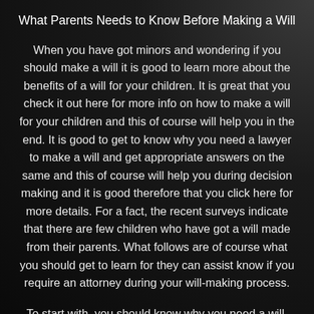What Parents Needs to Know Before Making a Will
When you have got minors and wondering if you should make a will it is good to learn more about the benefits of a will for your children. It is great that you check it out here for more info on how to make a will for your children and this of course will help you in the end. It is good to get to know why you need a lawyer to make a will and get appropriate answers on the same and this of course will help you during decision making and it is good therefore that you click here for more details. For a fact, the recent surveys indicate that there are few children who have got a will made from their parents. What follows are of course what you should get to learn for they can assist know if you require an attorney during your will-making process.
To start with, you should know why you need a will. For a fact a will is all you need to be able to appoint guardianship in case a tragedy happens. The court